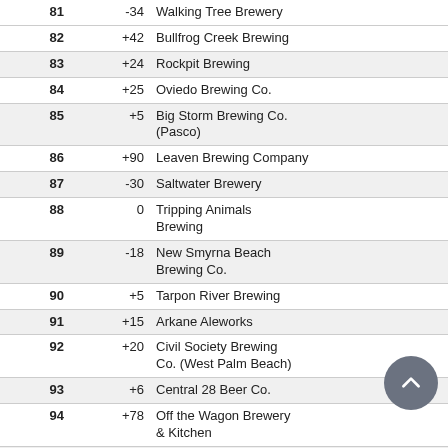| # | Change | Brewery | Location |
| --- | --- | --- | --- |
| 81 | -34 | Walking Tree Brewery |  |
| 82 | +42 | Bullfrog Creek Brewing |  |
| 83 | +24 | Rockpit Brewing |  |
| 84 | +25 | Oviedo Brewing Co. |  |
| 85 | +5 | Big Storm Brewing Co. (Pasco) |  |
| 86 | +90 | Leaven Brewing Company |  |
| 87 | -30 | Saltwater Brewery |  |
| 88 | 0 | Tripping Animals Brewing |  |
| 89 | -18 | New Smyrna Beach Brewing Co. |  |
| 90 | +5 | Tarpon River Brewing |  |
| 91 | +15 | Arkane Aleworks |  |
| 92 | +20 | Civil Society Brewing Co. (West Palm Beach) |  |
| 93 | +6 | Central 28 Beer Co. |  |
| 94 | +78 | Off the Wagon Brewery & Kitchen |  |
| 95 | +8 | Miami Brewing Co. |  |
| 96 | -42 | Hell'n Blazes Brewing Co. |  |
| 97 | -22 | Tomoka Brewing Co. |  |